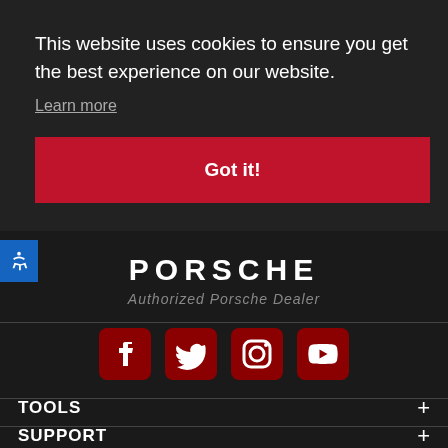This website uses cookies to ensure you get the best experience on our website.
Learn more
Got it!
[Figure (logo): PORSCHE Authorized Porsche Dealer logo text]
[Figure (infographic): Social media icons: Facebook, Twitter, Instagram, YouTube — all in red/dark red rounded square style]
TOOLS +
SUPPORT +